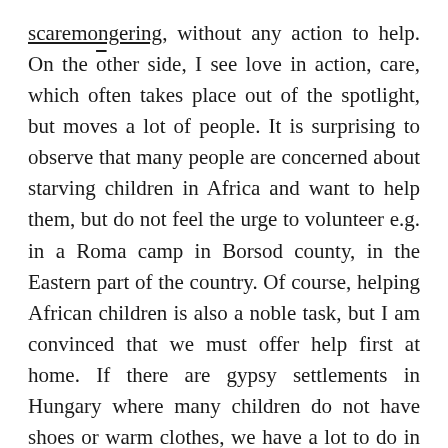scaremongering, without any action to help. On the other side, I see love in action, care, which often takes place out of the spotlight, but moves a lot of people. It is surprising to observe that many people are concerned about starving children in Africa and want to help them, but do not feel the urge to volunteer e.g. in a Roma camp in Borsod county, in the Eastern part of the country. Of course, helping African children is also a noble task, but I am convinced that we must offer help first at home. If there are gypsy settlements in Hungary where many children do not have shoes or warm clothes, we have a lot to do in our home country. I have often visited barefoot children living in poor conditions. Although it is now possible, thanks to government support, that no child should be hungry, the fact is that there are still families who live in severe deprivation. We have obligations toward them. And first and foremost, we have to deal with them here, in Hungary, and among Hungarians living across the border, in the Carpathian